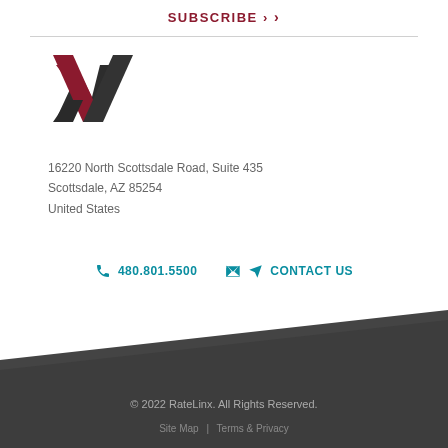SUBSCRIBE ›
[Figure (logo): RateLinx stylized X logo in dark red and dark gray]
16220 North Scottsdale Road, Suite 435
Scottsdale, AZ 85254
United States
📞 480.801.5500   ✉ CONTACT US
© 2022 RateLinx. All Rights Reserved.
Site Map  |  Terms & Privacy